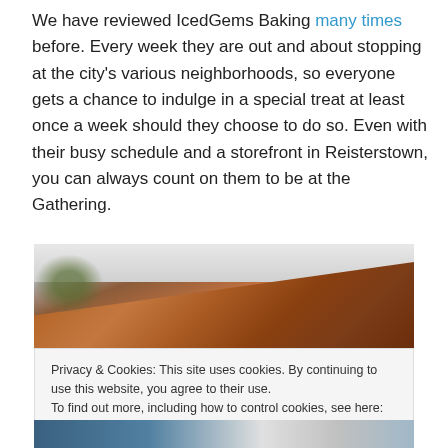We have reviewed IcedGems Baking many times before. Every week they are out and about stopping at the city's various neighborhoods, so everyone gets a chance to indulge in a special treat at least once a week should they choose to do so. Even with their busy schedule and a storefront in Reisterstown, you can always count on them to be at the Gathering.
[Figure (photo): Partial photo of a brick building exterior with sky and trees visible, shown behind a cookie consent overlay.]
Privacy & Cookies: This site uses cookies. By continuing to use this website, you agree to their use.
To find out more, including how to control cookies, see here: Cookie Policy
Close and accept
[Figure (photo): Bottom strip of another photo showing a street scene.]